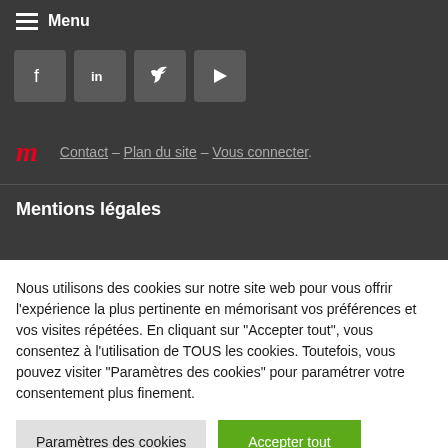Menu
[Figure (other): Social media icon buttons: Facebook, LinkedIn, Twitter, YouTube]
Contact – Plan du site – Vous connecter.
Mentions légales
Nous utilisons des cookies sur notre site web pour vous offrir l'expérience la plus pertinente en mémorisant vos préférences et vos visites répétées. En cliquant sur "Accepter tout", vous consentez à l'utilisation de TOUS les cookies. Toutefois, vous pouvez visiter "Paramètres des cookies" pour paramétrer votre consentement plus finement.
Paramètres des cookies | Accepter tout